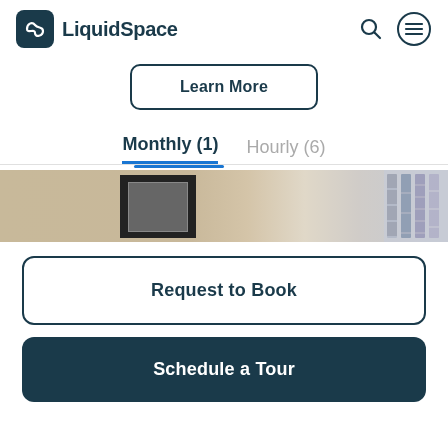LiquidSpace
Learn More
Monthly (1)   Hourly (6)
[Figure (photo): Partial view of an interior room showing a framed picture on a beige/tan wall and a white bookshelf on the right side]
Request to Book
Schedule a Tour